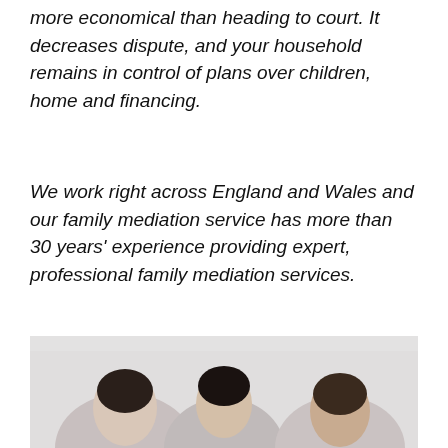more economical than heading to court. It decreases dispute, and your household remains in control of plans over children, home and financing.
We work right across England and Wales and our family mediation service has more than 30 years' experience providing expert, professional family mediation services.
[su_button url="https://solentfamilymediation.co.uk/contact-us" style="3d" size="4" wide="yes"]Arrange a Call Back[/su_button]
[Figure (photo): Three people sitting in a mediation session, two clients visible on left and right, mediator in the center background]